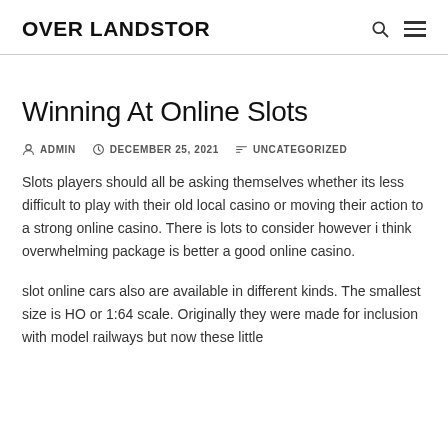OVER LANDSTOR
Winning At Online Slots
ADMIN   DECEMBER 25, 2021   UNCATEGORIZED
Slots players should all be asking themselves whether its less difficult to play with their old local casino or moving their action to a strong online casino. There is lots to consider however i think overwhelming package is better a good online casino.
slot online cars also are available in different kinds. The smallest size is HO or 1:64 scale. Originally they were made for inclusion with model railways but now these little